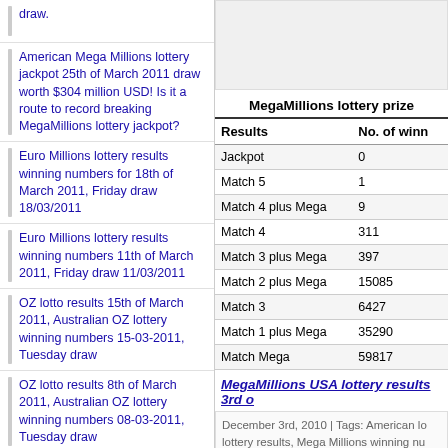draw.
American Mega Millions lottery jackpot 25th of March 2011 draw worth $304 million USD! Is it a route to record breaking MegaMillions lottery jackpot?
Euro Millions lottery results winning numbers for 18th of March 2011, Friday draw 18/03/2011
Euro Millions lottery results winning numbers 11th of March 2011, Friday draw 11/03/2011
OZ lotto results 15th of March 2011, Australian OZ lottery winning numbers 15-03-2011, Tuesday draw
OZ lotto results 8th of March 2011, Australian OZ lottery winning numbers 08-03-2011, Tuesday draw
Euro Millions lottery results 4th of March 2011, Euromillions winning numbers 04-03-2011 Friday draw
OZ lotto results 1st of March
[Figure (other): Advertisement box placeholder]
MegaMillions lottery prize
| Results | No. of winn |
| --- | --- |
| Jackpot | 0 |
| Match 5 | 1 |
| Match 4 plus Mega | 9 |
| Match 4 | 311 |
| Match 3 plus Mega | 397 |
| Match 2 plus Mega | 15085 |
| Match 3 | 6427 |
| Match 1 plus Mega | 35290 |
| Match Mega | 59817 |
MegaMillions USA lottery results 3rd o
December 3rd, 2010 | Tags: American lo lottery results, Mega Millions winning nu megamillions lotto, USA mega millions